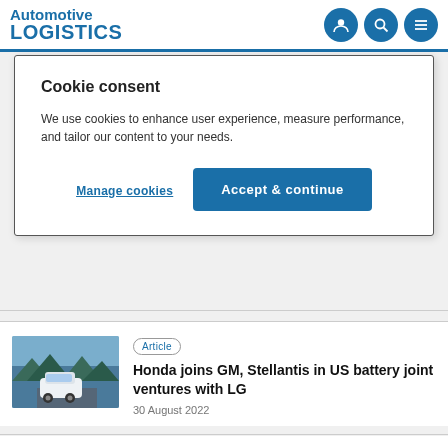Automotive LOGISTICS
Cookie consent
We use cookies to enhance user experience, measure performance, and tailor our content to your needs.
Manage cookies
Accept & continue
[Figure (photo): White electric SUV on a mountain road in winter]
Article
Honda joins GM, Stellantis in US battery joint ventures with LG
30 August 2022
[Figure (photo): Aerial view of green road or logistics area]
News